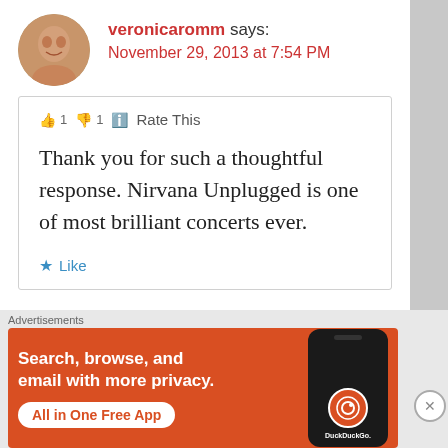veronicaromm says:
November 29, 2013 at 7:54 PM
👍 1 👎 1 ℹ️ Rate This

Thank you for such a thoughtful response. Nirvana Unplugged is one of most brilliant concerts ever.

★ Like
Magni...
Advertisements
[Figure (infographic): DuckDuckGo advertisement banner with orange background. Text reads: 'Search, browse, and email with more privacy. All in One Free App'. Shows a smartphone with DuckDuckGo logo and branding.]